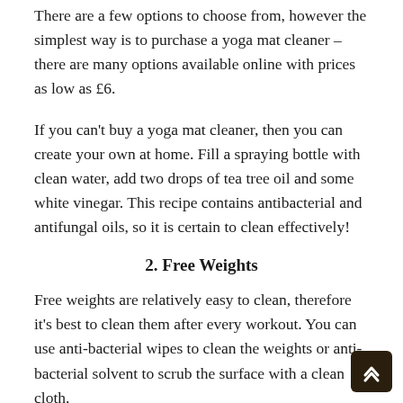There are a few options to choose from, however the simplest way is to purchase a yoga mat cleaner – there are many options available online with prices as low as £6.
If you can't buy a yoga mat cleaner, then you can create your own at home. Fill a spraying bottle with clean water, add two drops of tea tree oil and some white vinegar. This recipe contains antibacterial and antifungal oils, so it is certain to clean effectively!
2. Free Weights
Free weights are relatively easy to clean, therefore it's best to clean them after every workout. You can use anti-bacterial wipes to clean the weights or anti-bacterial solvent to scrub the surface with a clean cloth.
Additionally, there are DIY cleaning methods. One option